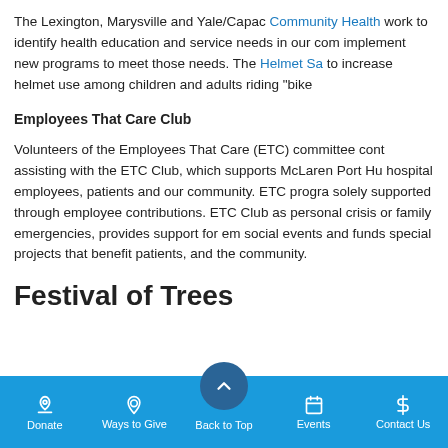The Lexington, Marysville and Yale/Capac Community Health work to identify health education and service needs in our com implement new programs to meet those needs. The Helmet Sa to increase helmet use among children and adults riding "bike
Employees That Care Club
Volunteers of the Employees That Care (ETC) committee cont assisting with the ETC Club, which supports McLaren Port Hu hospital employees, patients and our community. ETC progra solely supported through employee contributions. ETC Club a personal crisis or family emergencies, provides support for em social events and funds special projects that benefit patients, and the community.
Festival of Trees
Donate | Ways to Give | Back to Top | Events | Contact Us